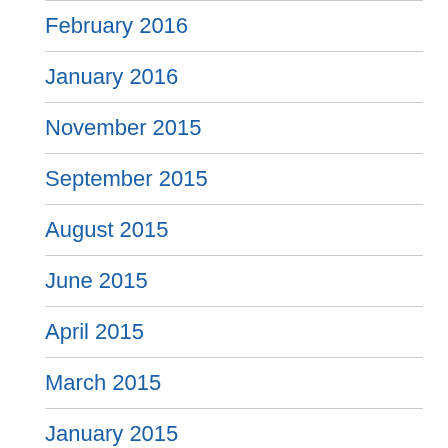February 2016
January 2016
November 2015
September 2015
August 2015
June 2015
April 2015
March 2015
January 2015
September 2014